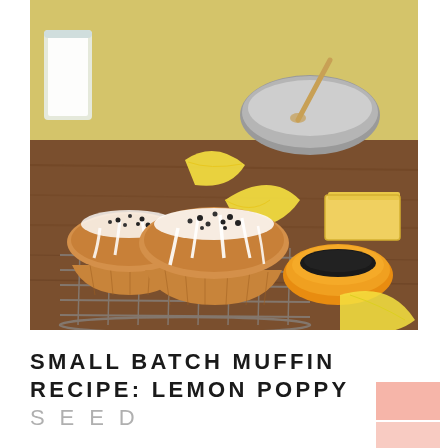[Figure (photo): Lemon poppy seed muffins with white glaze drizzle on a wire cooling rack, surrounded by ingredients including lemon wedges, butter, a bowl of poppy seeds, a mixing bowl with a wooden spoon, and a glass of milk, on a wooden surface with a yellow background.]
SMALL BATCH MUFFIN RECIPE: LEMON POPPY SEED